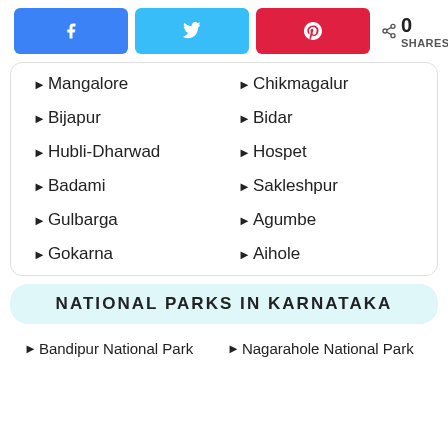[Figure (infographic): Social share buttons: Facebook (blue), Twitter (light blue), Pinterest (red), and share count showing 0 SHARES]
►Mangalore
►Chikmagalur
►Bijapur
►Bidar
►Hubli-Dharwad
►Hospet
►Badami
►Sakleshpur
►Gulbarga
►Agumbe
►Gokarna
►Aihole
NATIONAL PARKS IN KARNATAKA
►Bandipur National Park
►Nagarahole National Park